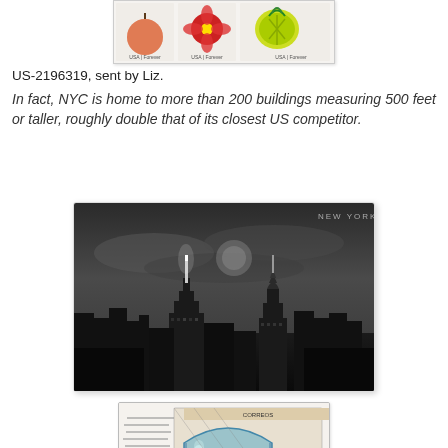[Figure (photo): Partial view of postage stamps showing flowers and fruit, USA Forever stamps]
US-2196319, sent by Liz.
In fact, NYC is home to more than 200 buildings measuring 500 feet or taller, roughly double that of its closest US competitor.
[Figure (photo): Black and white photograph of New York City skyline showing the Empire State Building and Chrysler Building at night/dusk with dramatic cloudy sky. Text 'New York City' in upper right corner.]
[Figure (photo): Postage stamp with colorful illustration of a train locomotive, with cancellation postmarks visible]